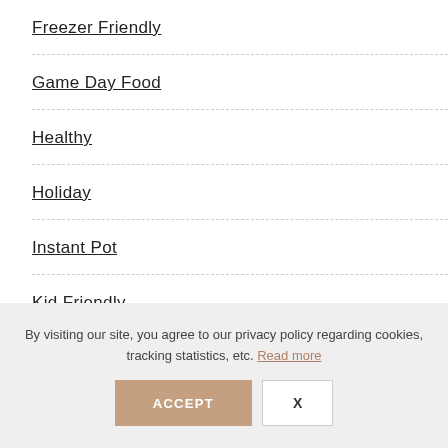Freezer Friendly
Game Day Food
Healthy
Holiday
Instant Pot
Kid Friendly
Lamb
By visiting our site, you agree to our privacy policy regarding cookies, tracking statistics, etc. Read more
ACCEPT  X